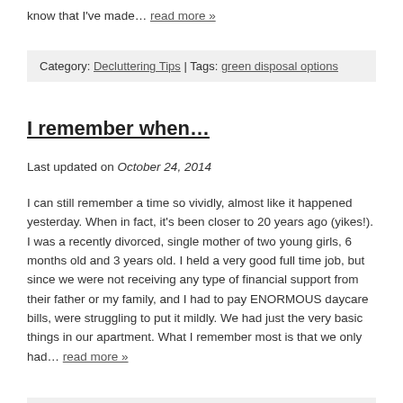know that I've made… read more »
Category: Decluttering Tips | Tags: green disposal options
I remember when…
Last updated on October 24, 2014
I can still remember a time so vividly, almost like it happened yesterday. When in fact, it's been closer to 20 years ago (yikes!). I was a recently divorced, single mother of two young girls, 6 months old and 3 years old. I held a very good full time job, but since we were not receiving any type of financial support from their father or my family, and I had to pay ENORMOUS daycare bills, were struggling to put it mildly. We had just the very basic things in our apartment. What I remember most is that we only had… read more »